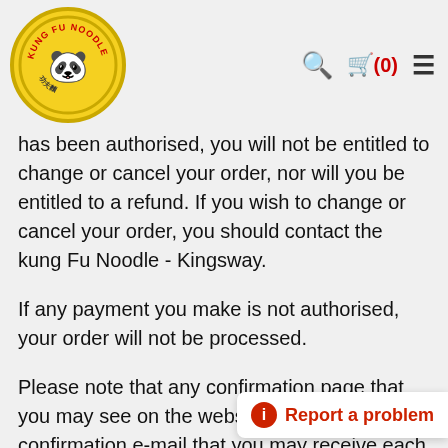[Figure (logo): Kung Fu Noodle logo: circular yellow badge with panda character holding noodles, red text reading KUNG FU NOODLE around the top arc]
🔍 🛒(0) ≡
has been authorised, you will not be entitled to change or cancel your order, nor will you be entitled to a refund. If you wish to change or cancel your order, you should contact the kung Fu Noodle - Kingsway.
If any payment you make is not authorised, your order will not be processed.
Please note that any confirmation page that you may see on the website and any order confirmation e-mail that you may receive each merely indicate that your order has been received and is being processed, and does not necessarily mean that your order has been accepted by the kung Fu Noodle - Kingsway.
kung Fu Noodle - Kingsway have the discretion to reject